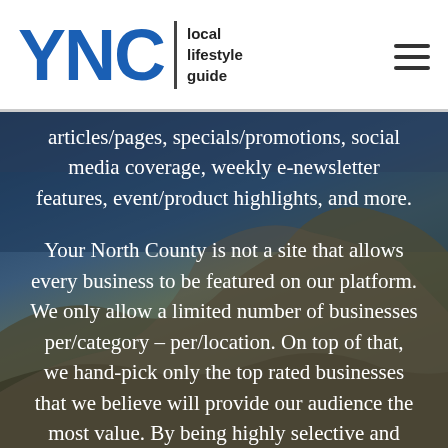[Figure (logo): YNC local lifestyle guide logo with blue bold YNC letters, vertical divider, and tagline text]
articles/pages, specials/promotions, social media coverage, weekly e-newsletter features, event/product highlights, and more.
Your North County is not a site that allows every business to be featured on our platform. We only allow a limited number of businesses per/category – per/location. On top of that, we hand-pick only the top rated businesses that we believe will provide our audience the most value. By being highly selective and only allowing the best of the best